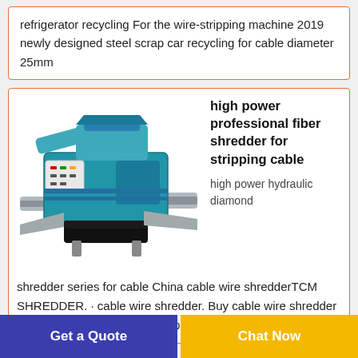refrigerator recycling For the wire-stripping machine 2019 newly designed steel scrap car recycling for cable diameter 25mm
[Figure (photo): Blue industrial fiber shredder / cable wire stripping machine with conveyor trays on both sides and a white control panel]
high power professional fiber shredder for stripping cable
high power hydraulic diamond shredder series for cable China cable wire shredderTCM SHREDDER. · cable wire shredder. Buy cable wire shredder with cheap wholesale factory price from China
Get a Quote
Chat Now